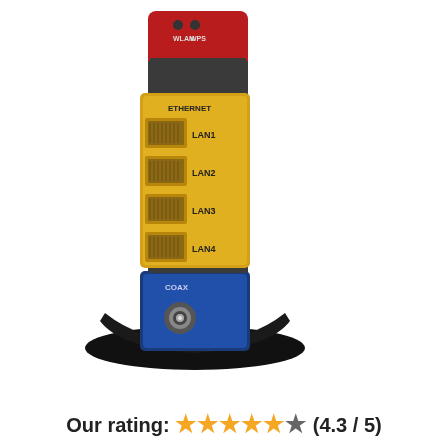[Figure (photo): Close-up photo of a network router/modem showing the back panel. The device has a dark gray/black body with a red section at the top labeled 'WLAN' and 'WPS' with indicator lights. Below is a yellow section labeled 'ETHERNET' with four RJ-45 LAN ports labeled LAN1, LAN2, LAN3, LAN4. Below that is a blue section labeled 'COAX' with a coaxial connector. The device sits on a curved black base.]
Our rating: ★★★★★☆ (4.3 / 5)